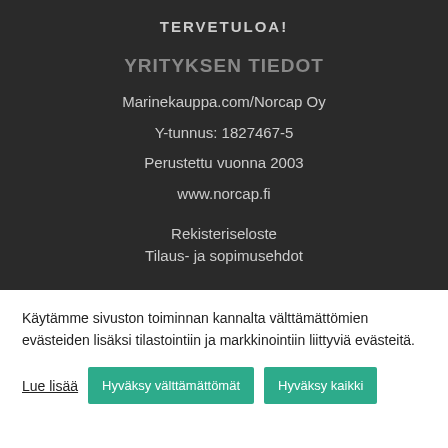TERVETULOA!
YRITYKSEN TIEDOT
Marinekauppa.com/Norcap Oy
Y-tunnus: 1827467-5
Perustettu vuonna 2003
www.norcap.fi
Rekisteriseloste
Tilaus- ja sopimusehdot
Käytämme sivuston toiminnan kannalta välttämättömien evästeiden lisäksi tilastointiin ja markkinointiin liittyviä evästeitä.
Lue lisää | Hyväksy välttämättömät | Hyväksy kaikki